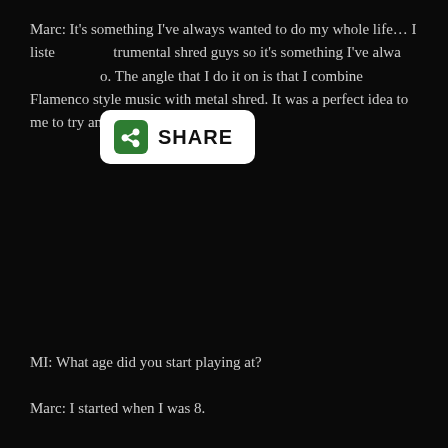Marc: It's something I've always wanted to do my whole life… I listened to instrumental shred guys so it's something I've always wanted to do. The angle that I do it on is that I combine Flamenco style music with metal shred. It was a perfect idea to me to try and mix the styles together.
MI: What age did you start playing at?
Marc: I started when I was 8.
MI: Do you play anything besides guitar?
Marc: It's my main instrument. I mess around with drums a little bit.
MI: When you were growing up who were your influences?
Marc: Jimmy Page was the first guitar player that made me want to